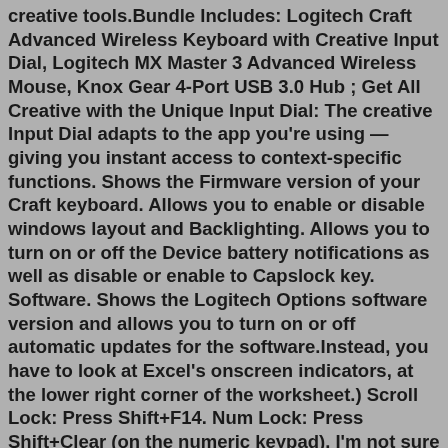creative tools.Bundle Includes: Logitech Craft Advanced Wireless Keyboard with Creative Input Dial, Logitech MX Master 3 Advanced Wireless Mouse, Knox Gear 4-Port USB 3.0 Hub ; Get All Creative with the Unique Input Dial: The creative Input Dial adapts to the app you're using — giving you instant access to context-specific functions. Shows the Firmware version of your Craft keyboard. Allows you to enable or disable windows layout and Backlighting. Allows you to turn on or off the Device battery notifications as well as disable or enable to Capslock key. Software. Shows the Logitech Options software version and allows you to turn on or off automatic updates for the software.Instead, you have to look at Excel's onscreen indicators, at the lower right corner of the worksheet.) Scroll Lock: Press Shift+F14. Num Lock: Press Shift+Clear (on the numeric keypad). I'm not sure if these shortcuts work on other Logitech keyboards or not. [ crarko adds: The hassle of dealing with batteries has kept me away from wireless. Logitech often sells refurbished Craft